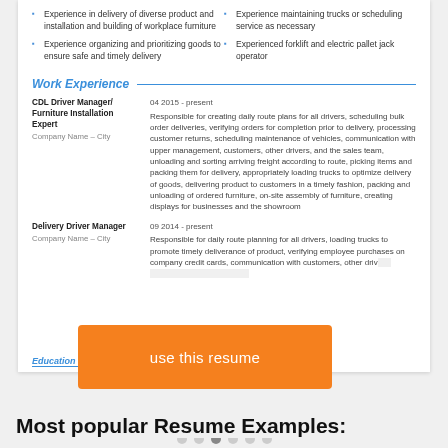Experience in delivery of diverse product and installation and building of workplace furniture
Experience organizing and prioritizing goods to ensure safe and timely delivery
Experience maintaining trucks or scheduling service as necessary
Experienced forklift and electric pallet jack operator
Work Experience
CDL Driver Manager/ Furniture Installation Expert
Company Name – City
04 2015 - present
Responsible for creating daily route plans for all drivers, scheduling bulk order deliveries, verifying orders for completion prior to delivery, processing customer returns, scheduling maintenance of vehicles, communication with upper management, customers, other drivers, and the sales team, unloading and sorting arriving freight according to route, picking items and packing them for delivery, appropriately loading trucks to optimize delivery of goods, delivering product to customers in a timely fashion, packing and unloading of ordered furniture, on-site assembly of furniture, creating displays for businesses and the showroom
Delivery Driver Manager
Company Name – City
09 2014 - present
Responsible for daily route planning for all drivers, loading trucks to promote timely deliverance of product, verifying employee purchases on company credit cards, communication ... ers, ensuring ... k up of returned
[Figure (other): Orange 'use this resume' button overlay]
Education ...
Most popular Resume Examples: